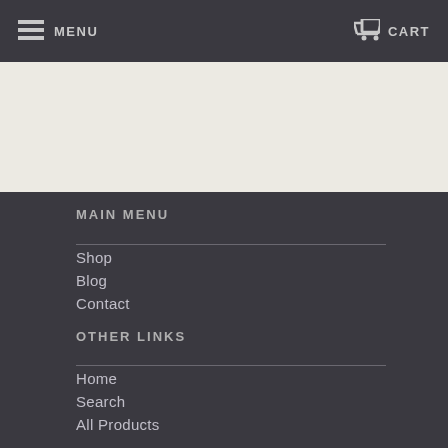MENU   CART
[Figure (screenshot): Light beige/cream banner area placeholder]
MAIN MENU
Shop
Blog
Contact
OTHER LINKS
Home
Search
All Products